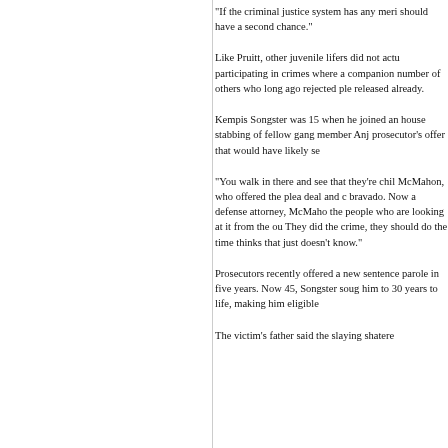"If the criminal justice system has any meri should have a second chance."
Like Pruitt, other juvenile lifers did not actu participating in crimes where a companion number of others who long ago rejected ple released already.
Kempis Songster was 15 when he joined an house stabbing of fellow gang member Anj prosecutor's offer that would have likely se
"You walk in there and see that they're chil McMahon, who offered the plea deal and c bravado. Now a defense attorney, McMaho the people who are looking at it from the ou They did the crime, they should do the time thinks that just doesn't know."
Prosecutors recently offered a new sentence parole in five years. Now 45, Songster soug him to 30 years to life, making him eligible
The victim's father said the slaying shatere